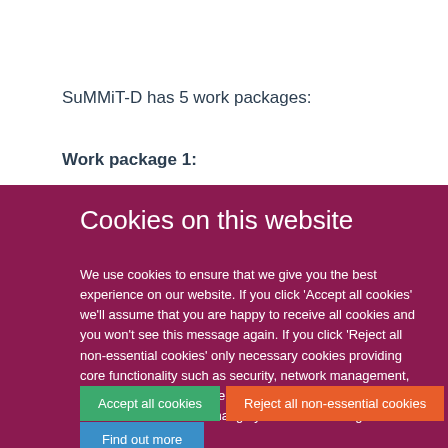SuMMiT-D has 5 work packages:
Work package 1:
Cookies on this website
We use cookies to ensure that we give you the best experience on our website. If you click 'Accept all cookies' we'll assume that you are happy to receive all cookies and you won't see this message again. If you click 'Reject all non-essential cookies' only necessary cookies providing core functionality such as security, network management, and accessibility will be enabled. Click 'Find out more' for information on how to change your cookie settings.
Accept all cookies
Reject all non-essential cookies
Find out more